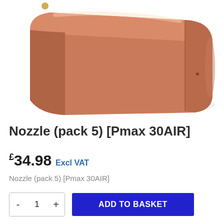[Figure (photo): A copper/terracotta colored cylindrical nozzle component (Pmax 30AIR), shown at an angle from above, partially cropped at the top of the image.]
Nozzle (pack 5) [Pmax 30AIR]
£34.98 Excl VAT
Nozzle (pack 5) [Pmax 30AIR]
- 1 + ADD TO BASKET